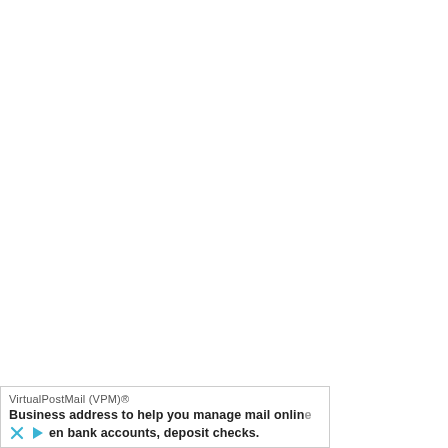[Figure (other): Advertisement banner for VirtualPostMail (VPM). Title: 'VirtualPostMail (VPM)®'. Body text: 'Business address to help you manage mail online'. Second line with close (X) and play icon followed by text: 'en bank accounts, deposit checks.']